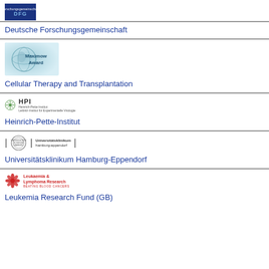[Figure (logo): DFG - Deutsche Forschungsgemeinschaft blue logo with white text]
Deutsche Forschungsgemeinschaft
[Figure (logo): Maximow Award logo with globe/cell imagery and teal background]
Cellular Therapy and Transplantation
[Figure (logo): HPI - Heinrich Pette Institut logo with snowflake-like emblem]
Heinrich-Pette-Institut
[Figure (logo): Universitätsklinikum Hamburg-Eppendorf seal logo]
Universitätsklinikum Hamburg-Eppendorf
[Figure (logo): Leukaemia & Lymphoma Research - Beating Blood Cancers logo with red flower]
Leukemia Research Fund (GB)